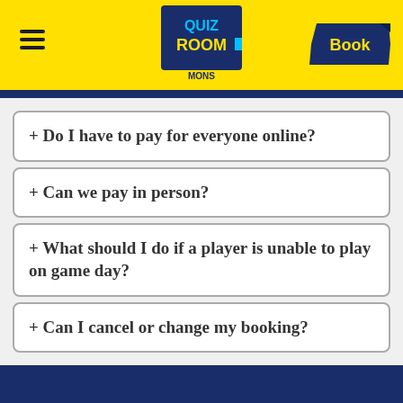Quiz Room Mons — Navigation header with logo and Book button
+ Do I have to pay for everyone online?
+ Can we pay in person?
+ What should I do if a player is unable to play on game day?
+ Can I cancel or change my booking?